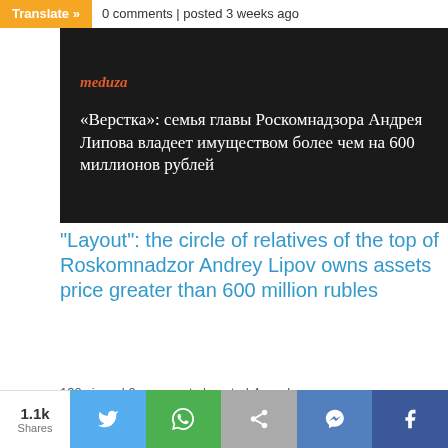0 comments | posted 3 weeks ago
[Figure (screenshot): Dark card with Meduza logo and Russian text: «Верстка»: семья главы Роскомнадзора Андрея Липова владеет имуществом более чем на 600 миллионов рублей]
“Layout”: the circle of relatives of the top of Roskomnadzor Andrey Lipov owns assets price greater than 600 million rubles
130 views | 0 comments | posted 4 weeks ago
[Figure (photo): Aerial/rooftop view of buildings with palm trees in background]
1.1k Shares — social share buttons: Twitter, WhatsApp, Share, Messenger, Facebook